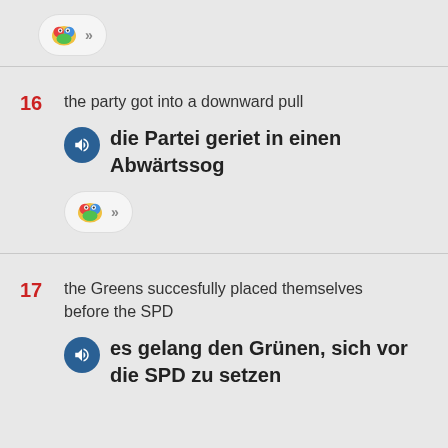[Figure (other): Language app icon button with colorful bird/chat icon and chevron arrows]
16  the party got into a downward pull
  die Partei geriet in einen Abwärtssog
[Figure (other): Language app icon button with colorful bird/chat icon and chevron arrows]
17  the Greens succesfully placed themselves before the SPD
  es gelang den Grünen, sich vor die SPD zu setzen